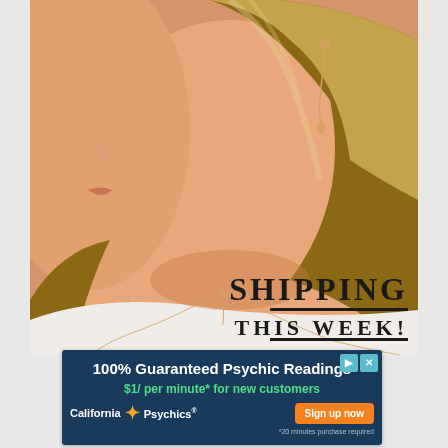[Figure (photo): Close-up photo of a young woman's face and neck in profile, wearing a delicate rose gold chain necklace with a pendant and a dangling floral/leaf rose gold earring. She has blonde hair, a nose ring, and is wearing a white top. The background is warm and softly lit. In the lower right of the image appears partial text 'SHIPPING THIS WEEK!' in bold serif font.]
[Figure (infographic): Advertisement banner for California Psychics on a dark navy background. Headline: '100% Guaranteed Psychic Readings'. Subline in green: '$1/ per minute* for new customers'. Logo: 'California Psychics' with a starburst icon. Orange 'Sign up now' button. Footnote: '*20 minutes purchase required'. Ad label icons (arrow and X) in teal top right.]